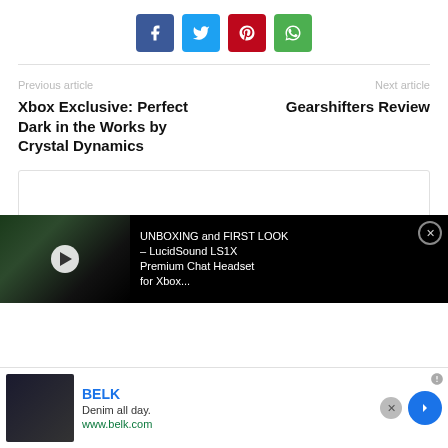[Figure (infographic): Social share buttons: Facebook (blue), Twitter (cyan), Pinterest (red), WhatsApp (green)]
Previous article
Next article
Xbox Exclusive: Perfect Dark in the Works by Crystal Dynamics
Gearshifters Review
[Figure (screenshot): Video overlay showing UNBOXING and FIRST LOOK - LucidSound LS1X Premium Chat Headset for Xbox thumbnail with play button]
[Figure (infographic): Advertisement for BELK: Denim all day. www.belk.com with a close button and navigation arrow]